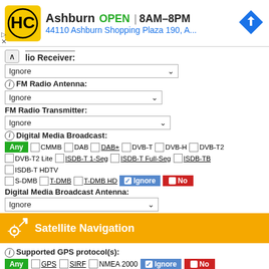[Figure (screenshot): Advertisement banner for HC store in Ashburn, showing logo, OPEN status, hours 8AM-8PM, address 44110 Ashburn Shopping Plaza 190, A..., and navigation arrow icon]
lio Receiver:
Ignore (dropdown)
FM Radio Antenna:
Ignore (dropdown)
FM Radio Transmitter:
Ignore (dropdown)
Digital Media Broadcast:
Any  CMMB  DAB  DAB+  DVB-T  DVB-H  DVB-T2
DVB-T2 Lite  ISDB-T 1-Seg  ISDB-T Full-Seg  ISDB-TB  ISDB-T HDTV
S-DMB  T-DMB  T-DMB HD  Ignore  No
Digital Media Broadcast Antenna:
Ignore (dropdown)
Satellite Navigation
Supported GPS protocol(s):
Any  GPS  SIRF  NMEA 2000  Ignore  No
Parallel GPS Channels
min: 5  max: 64
GPS Antenna: